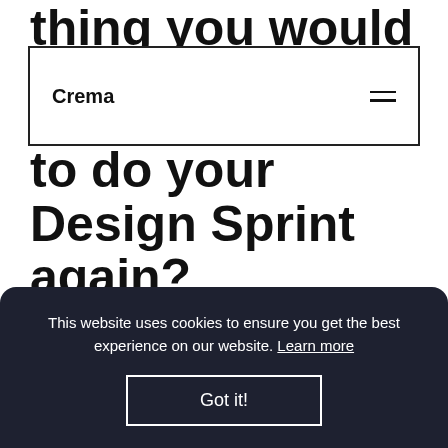thing you would do to do your Design Sprint again?
Crema
Product Manager: Emphasize that our Design Sprints are not only a trusted process, but also a guideline: we can and
This website uses cookies to ensure you get the best experience on our website. Learn more
Got it!